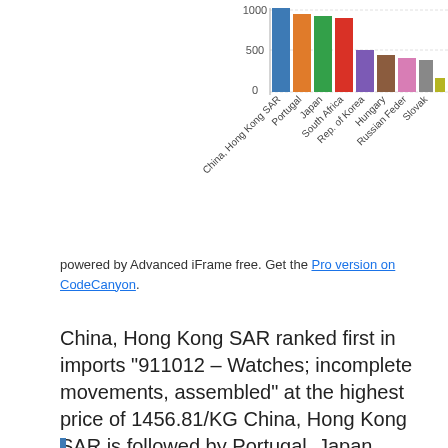[Figure (bar-chart): Imports by country (price per KG)]
powered by Advanced iFrame free. Get the Pro version on CodeCanyon.
China, Hong Kong SAR ranked first in imports “911012 – Watches; incomplete movements, assembled” at the highest price of 1456.81/KG China, Hong Kong SAR is followed by Portugal, Japan, South Africa, Rep. of Korea, and Hungary